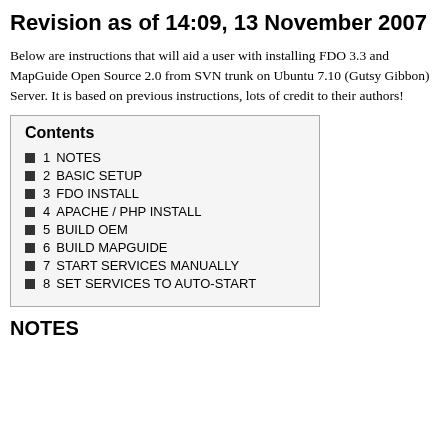Revision as of 14:09, 13 November 2007
Below are instructions that will aid a user with installing FDO 3.3 and MapGuide Open Source 2.0 from SVN trunk on Ubuntu 7.10 (Gutsy Gibbon) Server. It is based on previous instructions, lots of credit to their authors!
1  NOTES
2  BASIC SETUP
3  FDO INSTALL
4  APACHE / PHP INSTALL
5  BUILD OEM
6  BUILD MAPGUIDE
7  START SERVICES MANUALLY
8  SET SERVICES TO AUTO-START
NOTES